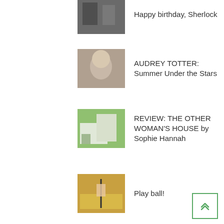Happy birthday, Sherlock
AUDREY TOTTER: Summer Under the Stars
REVIEW: THE OTHER WOMAN'S HOUSE by Sophie Hannah
Play ball!
SUBSCRIBE
Email address *
SUBSCRIBE
Confirm *